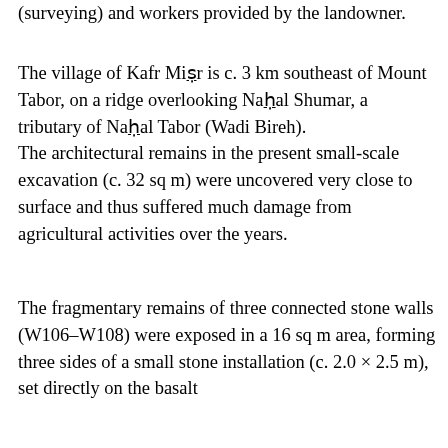(surveying) and workers provided by the landowner.
The village of Kafr Miṣr is c. 3 km southeast of Mount Tabor, on a ridge overlooking Naḥal Shumar, a tributary of Naḥal Tabor (Wadi Bireh). The architectural remains in the present small-scale excavation (c. 32 sq m) were uncovered very close to surface and thus suffered much damage from agricultural activities over the years.
The fragmentary remains of three connected stone walls (W106–W108) were exposed in a 16 sq m area, forming three sides of a small stone installation (c. 2.0 × 2.5 m), set directly on the basalt